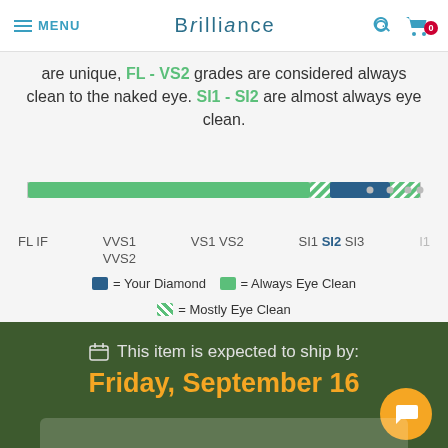MENU | BRILLIANCE | phone | cart (0)
are unique, FL - VS2 grades are considered always clean to the naked eye. SI1 - SI2 are almost always eye clean.
[Figure (infographic): Clarity scale bar showing green (FL-VS2 always eye clean), striped green (SI1-SI2 mostly eye clean), and blue marker (SI2, your diamond). Labels: FL IF, VVS1 VVS2, VS1 VS2, SI1 SI2 SI3, I1]
■ = Your Diamond   ■ = Always Eye Clean   ■ = Mostly Eye Clean
This item is expected to ship by: Friday, September 16